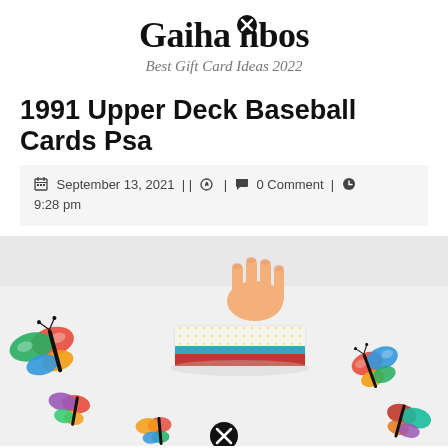Gaihanbos
Best Gift Card Ideas 2022
1991 Upper Deck Baseball Cards Psa
September 13, 2021 | | | 0 Comment | 9:28 pm
[Figure (photo): A hand holding a box of cards above a white surface with colorful butterfly decorations scattered around it.]